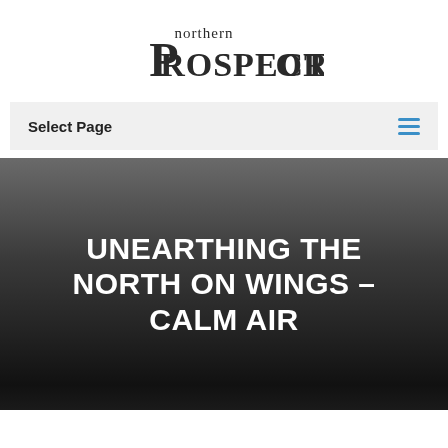[Figure (logo): Northern Prospector logo — 'northern' in small serif caps above 'PROSPECTOR' in large bold serif letters]
Select Page
UNEARTHING THE NORTH ON WINGS – CALM AIR